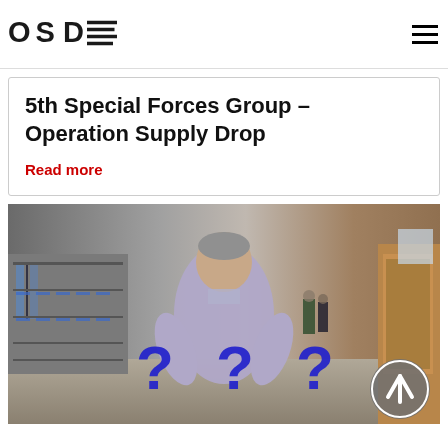OSD logo and navigation
5th Special Forces Group – Operation Supply Drop
Read more
[Figure (photo): Man in light blue shirt standing in a school hallway with lockers on the left and doors on the right, with three large blue question marks overlaid and a circular up-arrow button at bottom right]